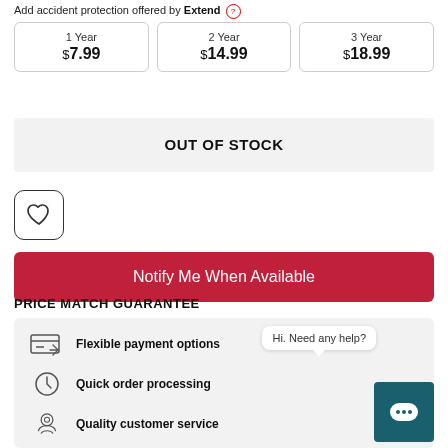Add accident protection offered by Extend ℹ
| Plan | Price |
| --- | --- |
| 1 Year | $7.99 |
| 2 Year | $14.99 |
| 3 Year | $18.99 |
OUT OF STOCK
[Figure (illustration): Wishlist heart icon button]
Notify Me When Available
PRICE MATCH GUARANTEE
Flexible payment options
Quick order processing
Quality customer service
Hi. Need any help?